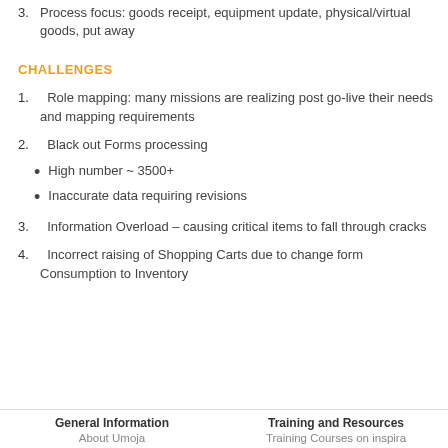3.  Process focus: goods receipt, equipment update, physical/virtual goods, put away
CHALLENGES
1.  Role mapping: many missions are realizing post go-live their needs and mapping requirements
2.  Black out Forms processing
High number ~ 3500+
Inaccurate data requiring revisions
3.  Information Overload – causing critical items to fall through cracks
4.  Incorrect raising of Shopping Carts due to change form Consumption to Inventory
General Information | About Umoja | Training and Resources | Training Courses on inspira